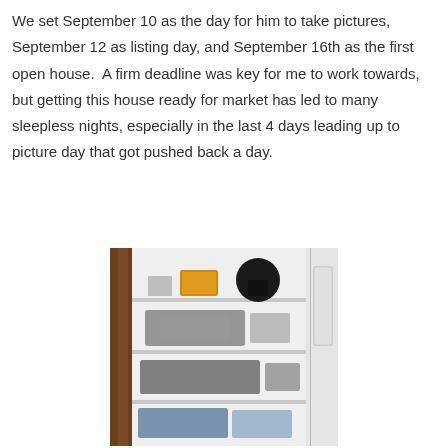We set September 10 as the day for him to take pictures, September 12 as listing day, and September 16th as the first open house.  A firm deadline was key for me to work towards, but getting this house ready for market has led to many sleepless nights, especially in the last 4 days leading up to picture day that got pushed back a day.
[Figure (photo): Photo of an open closet with white shelves and door, showing various items on the shelves including a box, a black kettle, and other household items. A brown/wood door frame is visible on the left side.]